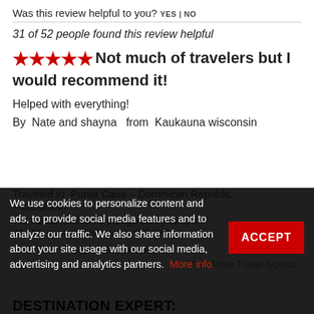Was this review helpful to you? YES | NO
31 of 52 people found this review helpful
Not much of travelers but I would recommend it!
Helped with everything!
By  Nate and shayna  from  Kaukauna wisconsin
Traveled to  Punta Cana – Dominican Republic
– Caribbean
Yes, I would recommend this agent to my family a…
Was this review helpful to you? YES | NO
Load more reviews
See More Travel Agents
We use cookies to personalize content and ads, to provide social media features and to analyze our traffic. We also share information about your site usage with our social media, advertising and analytics partners. More info.
DESTINATION EXPERT: